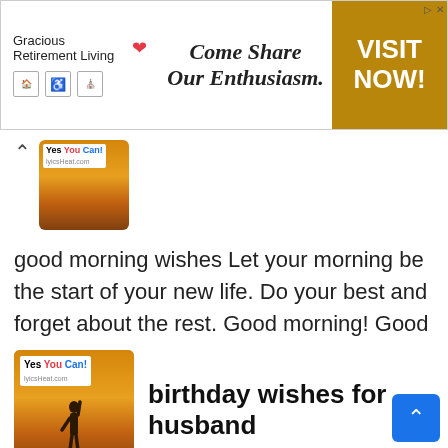[Figure (screenshot): Advertisement banner for Gracious Retirement Living with tagline 'Come Share Our Enthusiasm.' and 'VISIT NOW!' CTA button in gold/brown.]
[Figure (photo): Thumbnail image with sunset/sunrise background and 'Yes You Can!' badge, with back arrow navigation.]
good morning wishes Let your morning be the start of your new life. Do your best and forget about the rest. Good morning! Good morning, wake up....
[Figure (photo): Thumbnail image with sunrise background, silhouette figure with raised fist, and 'Yes You Can!' badge overlay.]
birthday wishes for husband
birthday wishes for husband 1. You are the most amazing person on earth. Happy birthday, love! 2. Sending you nothing but positive vibes on your...